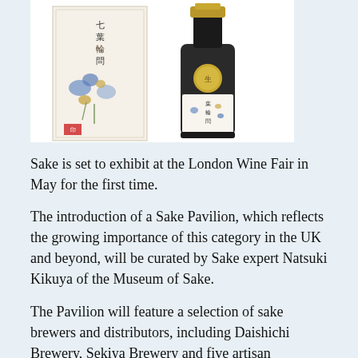[Figure (photo): Two sake bottles: one in a white box with Japanese calligraphy and floral decoration, and one standalone black-capped bottle with a gold medallion and white label with Japanese text and floral motif.]
Sake is set to exhibit at the London Wine Fair in May for the first time.
The introduction of a Sake Pavilion, which reflects the growing importance of this category in the UK and beyond, will be curated by Sake expert Natsuki Kikuya of the Museum of Sake.
The Pavilion will feature a selection of sake brewers and distributors, including Daishichi Brewery, Sekiya Brewery and five artisan producers from ENTER Sake, the label set up by renowned DJ Richie Hawtin. Distributors at the event will include Tazaki Foods, Ueno Gourmet,